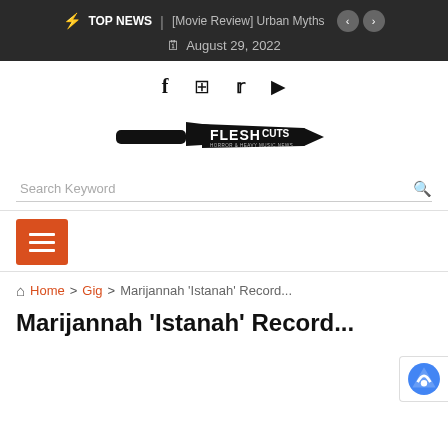TOP NEWS | [Movie Review] Urban Myths
August 29, 2022
[Figure (logo): FleshCuts horror and heavy music news logo with a knife graphic]
Search Keyword
[Figure (other): Orange hamburger menu button with three horizontal white lines]
Home > Gig > Marijannah 'Istanah' Record...
Marijannah 'Istanah' Record...